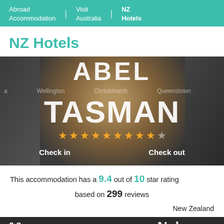Abroad Accommodation | Visit Australia | NZ Hotels
NZ Hotels
[Figure (photo): Photo of a smiling woman with large 'ABEL TASMAN' text overlaid, star rating row, Check in / Check out labels, and city navigation (Wellington, Queenstown, Nelson) visible. Background shows a hotel/accommodation setting.]
This accommodation has a 9.4 out of 10 star rating based on 299 reviews
New Zealand
it 9.8 for a two-person trip Nelson